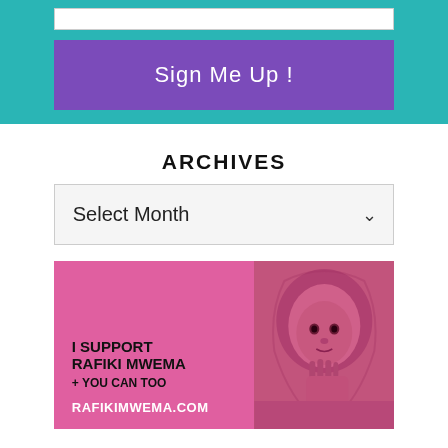[Figure (screenshot): Teal background box with a white input bar at top and a purple 'Sign Me Up!' button below]
ARCHIVES
[Figure (screenshot): A dropdown select box with 'Select Month' placeholder and chevron arrow]
[Figure (illustration): Pink banner image with 'I SUPPORT RAFIKI MWEMA + YOU CAN TOO RAFIKIMWEMA.COM' text on left and a pink-tinted photo of a child on the right]